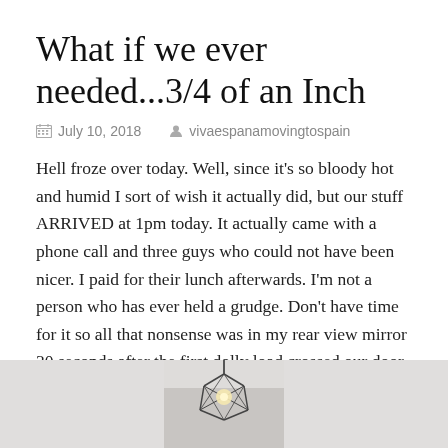What if we ever needed...3/4 of an Inch
July 10, 2018   vivaespanamovingtospain
Hell froze over today. Well, since it's so bloody hot and humid I sort of wish it actually did, but our stuff ARRIVED at 1pm today. It actually came with a phone call and three guys who could not have been nicer. I paid for their lunch afterwards. I'm not a person who has ever held a grudge. Don't have time for it so all that nonsense was in my rear view mirror 30 seconds after the first dolly load crossed our door step.
[Figure (photo): Bottom portion of a room with a geometric wire pendant lamp hanging from the ceiling, gray wall and light floor visible.]